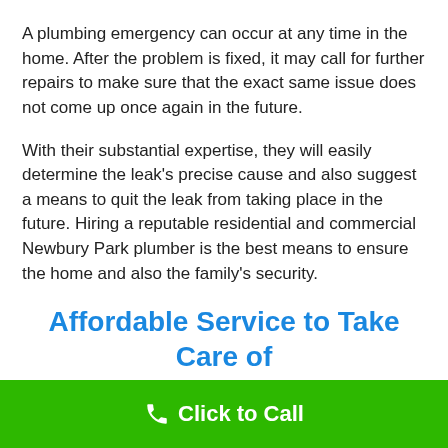A plumbing emergency can occur at any time in the home. After the problem is fixed, it may call for further repairs to make sure that the exact same issue does not come up once again in the future.
With their substantial expertise, they will easily determine the leak's precise cause and also suggest a means to quit the leak from taking place in the future. Hiring a reputable residential and commercial Newbury Park plumber is the best means to ensure the home and also the family's security.
Affordable Service to Take Care of Your Plumbing Needs
Click to Call